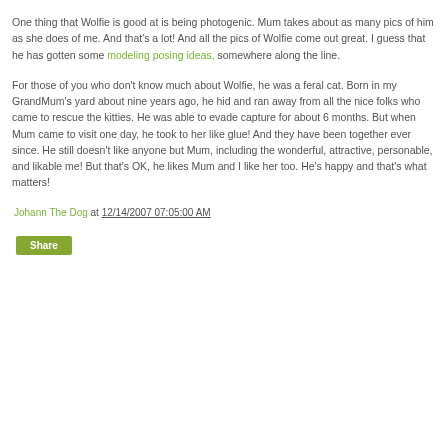One thing that Wolfie is good at is being photogenic. Mum takes about as many pics of him as she does of me. And that's a lot! And all the pics of Wolfie come out great. I guess that he has gotten some modeling posing ideas, somewhere along the line.

For those of you who don't know much about Wolfie, he was a feral cat. Born in my GrandMum's yard about nine years ago, he hid and ran away from all the nice folks who came to rescue the kitties. He was able to evade capture for about 6 months. But when Mum came to visit one day, he took to her like glue! And they have been together ever since. He still doesn't like anyone but Mum, including the wonderful, attractive, personable, and likable me! But that's OK, he likes Mum and I like her too. He's happy and that's what matters!
Johann The Dog at 12/14/2007 07:05:00 AM
Share